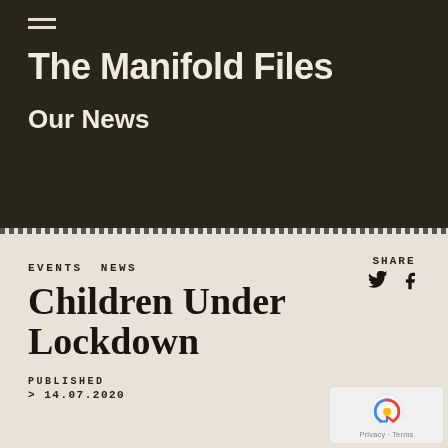The Manifold Files
Our News
EVENTS NEWS
Children Under Lockdown
PUBLISHED
> 14.07.2020
SHARE